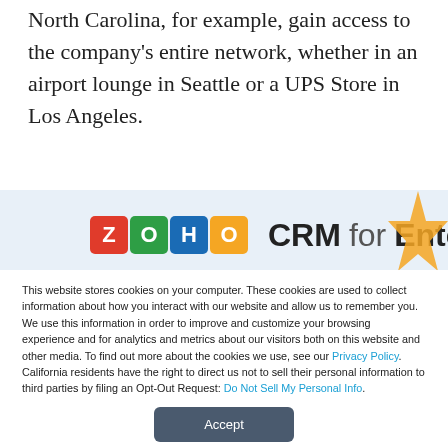North Carolina, for example, gain access to the company's entire network, whether in an airport lounge in Seattle or a UPS Store in Los Angeles.
[Figure (logo): ZOHO CRM for Enterprise logo banner with colorful letter tiles and decorative gold star]
This website stores cookies on your computer. These cookies are used to collect information about how you interact with our website and allow us to remember you. We use this information in order to improve and customize your browsing experience and for analytics and metrics about our visitors both on this website and other media. To find out more about the cookies we use, see our Privacy Policy. California residents have the right to direct us not to sell their personal information to third parties by filing an Opt-Out Request: Do Not Sell My Personal Info.